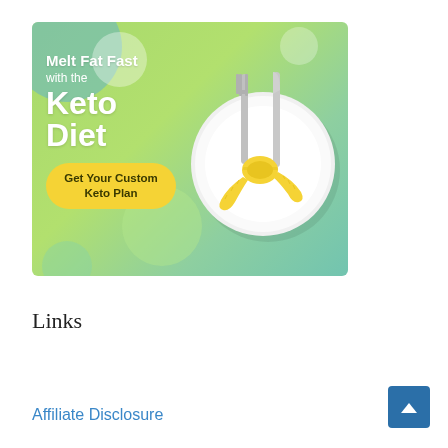[Figure (illustration): Keto diet advertisement banner showing a green gradient background with decorative circles, a white plate with a fork and knife wrapped in a yellow measuring tape, bold white text reading 'Melt Fat Fast with the Keto Diet', and a yellow pill-shaped button saying 'Get Your Custom Keto Plan']
Links
Affiliate Disclosure